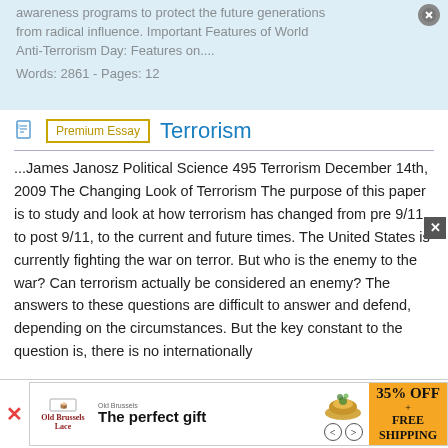awareness programs to protect the future generations from radical influence. Important Features of World Anti-Terrorism Day: Features on.... Words: 2861 - Pages: 12
Terrorism
Premium Essay
...James Janosz Political Science 495 Terrorism December 14th, 2009 The Changing Look of Terrorism The purpose of this paper is to study and look at how terrorism has changed from pre 9/11, to post 9/11, to the current and future times. The United States is currently fighting the war on terror. But who is the enemy to the war? Can terrorism actually be considered an enemy? The answers to these questions are difficult to answer and defend, depending on the circumstances. But the key constant to the question is, there is no internationally